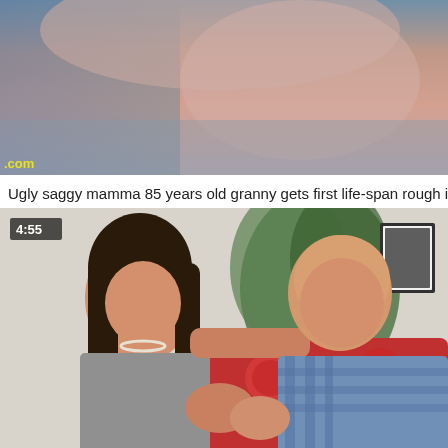[Figure (photo): Close-up photo thumbnail of a person's face, partially cropped, with a .com watermark in the lower left corner]
Ugly saggy mamma 85 years old granny gets first life-span rough incr
[Figure (photo): Video thumbnail showing a woman with dark hair and a bald man sitting together on a red patterned couch, smiling and interacting. Duration timestamp 4:55 shown in upper left.]